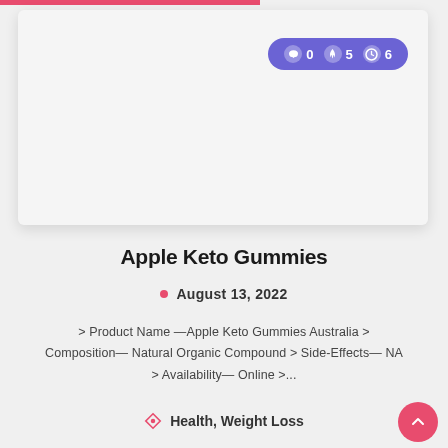[Figure (screenshot): Light gray card with rounded corners and drop shadow, containing a purple pill-shaped badge in upper right corner with icons and numbers: comment icon '0', fire icon '5', clock icon '6']
Apple Keto Gummies
August 13, 2022
> Product Name —Apple Keto Gummies Australia > Composition— Natural Organic Compound > Side-Effects— NA > Availability— Online >...
Health, Weight Loss